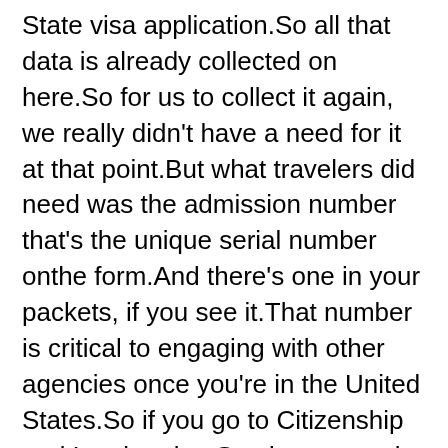State visa application.So all that data is already collected on here.So for us to collect it again, we really didn't have a need for it at that point.But what travelers did need was the admission number that's the unique serial number onthe form.And there's one in your packets, if you see it.That number is critical to engaging with other agencies once you're in the United States.So if you go to Citizenship and Immigration Services to apply for benefits, if you goto the Department of Motor Vehicle to apply for a driver's license, if your employer isfilling out the I-9 form and they ask for admission number, that's the number they'reasking for.So we looked for a way where we could create this number electronically, and then we weretrying to figure out a way to get it back to the traveler.So what we ended up coming up with was developing a website where travelers, once